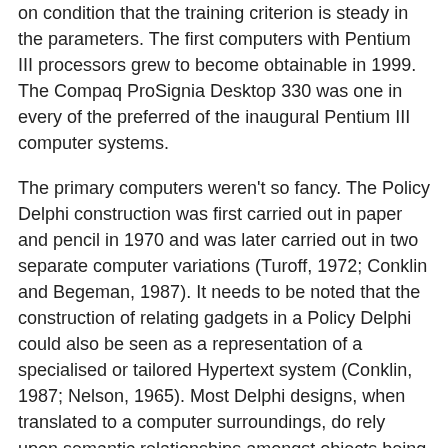on condition that the training criterion is steady in the parameters. The first computers with Pentium III processors grew to become obtainable in 1999. The Compaq ProSignia Desktop 330 was one in every of the preferred of the inaugural Pentium III computer systems.
The primary computers weren't so fancy. The Policy Delphi construction was first carried out in paper and pencil in 1970 and was later carried out in two separate computer variations (Turoff, 1972; Conklin and Begeman, 1987). It needs to be noted that the construction of relating gadgets in a Policy Delphi could also be seen as a representation of a specialised or tailored Hypertext system (Conklin, 1987; Nelson, 1965). Most Delphi designs, when translated to a computer surroundings, do rely upon semantic relationships amongst objects being established and are utilized for looking and presenting content oriented groupings of the fabric. However, there are actually tens of different Delphi buildings which have been demonstrated within the paper and pencil environment (Linstone and Turoff, 1975) and are fairly transferable to the computer based mostly setting. Then they're requested to listing the assumptions they're